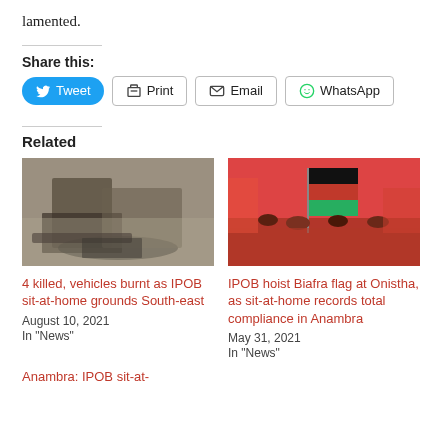lamented.
Share this:
Tweet
Print
Email
WhatsApp
Related
[Figure (photo): Burnt vehicles and debris from IPOB sit-at-home incident]
4 killed, vehicles burnt as IPOB sit-at-home grounds South-east
August 10, 2021
In "News"
[Figure (photo): IPOB members hoisting Biafra flag at Onitsha during sit-at-home]
IPOB hoist Biafra flag at Onistha, as sit-at-home records total compliance in Anambra
May 31, 2021
In "News"
Anambra: IPOB sit-at-home records total...